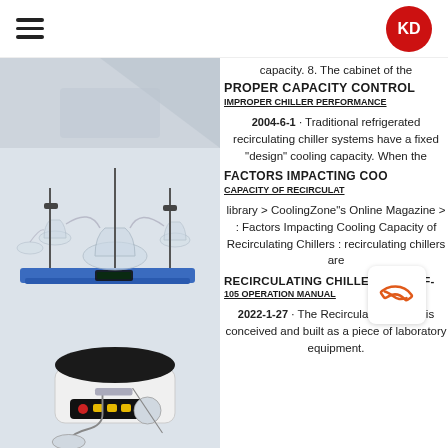KD logo and hamburger menu
[Figure (photo): Laboratory glassware apparatus — flask distillation setup with multiple flasks and stands on blue base]
[Figure (photo): Digital laboratory hot plate / magnetic stirrer with black circular top and control panel]
[Figure (photo): Rotary evaporator laboratory equipment]
capacity. 8. The cabinet of the
PROPER CAPACITY CONTROL
IMPROPER CHILLER PERFORMANCE
2004-6-1 · Traditional refrigerated recirculating chiller systems have a fixed "design" cooling capacity. When the
FACTORS IMPACTING COO
CAPACITY OF RECIRCULAT
library > CoolingZone"s Online Magazine > : Factors Impacting Cooling Capacity of Recirculating Chillers : recirculating chillers are
RECIRCULATING CHILLER F-100 / F-105 OPERATION MANUAL
2022-1-27 · The Recirculating Chiller is conceived and built as a piece of laboratory equipment.